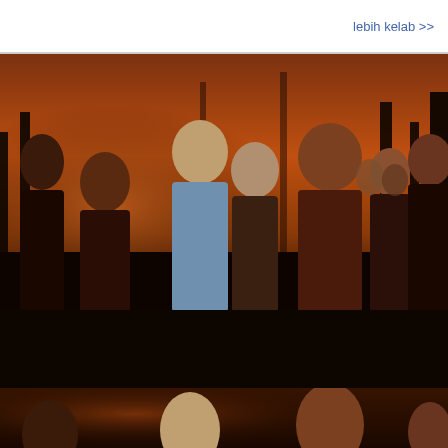lebih kelab >>
[Figure (photo): Movie promotional image showing a group of characters from the Twilight saga, posed against a dark forest and orange-tinted sunset sky. Multiple characters with pale and tan complexions in dark clothing are arranged in a group portrait style. The full image appears three times (top partial, main center, and bottom partial) as part of a scrolling page layout.]